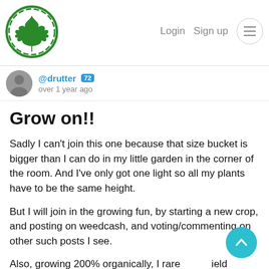[Figure (logo): Cannabis leaf logo with gear border in green]
Login  Sign up  ☰
@drutter  [72]
over 1 year ago
Grow on!!
Sadly I can't join this one because that size bucket is bigger than I can do in my little garden in the corner of the room. And I've only got one light so all my plants have to be the same height.
But I will join in the growing fun, by starting a new crop, and posting on weedcash, and voting/commenting on other such posts I see.
Also, growing 200% organically, I rarely yield contests anyway! :P
If only we had "bomb fire dankness" contests, but